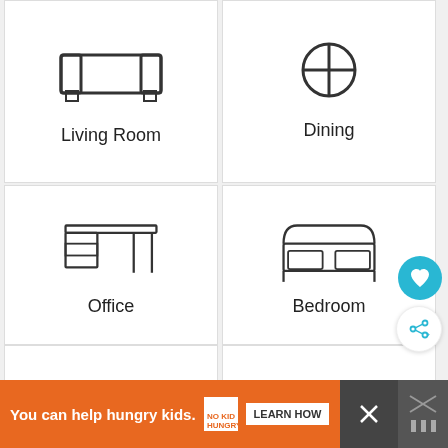[Figure (illustration): Grid of furniture category icons: Living Room (sofa icon), Dining (circular icon), Office (desk icon), Bedroom (bed icon), Outdoor (lounge chair icon), For Kids (crib icon), plus two partial cells at bottom.]
Living Room
Dining
Office
Bedroom
Outdoor
For Kids
You can help hungry kids.
LEARN HOW